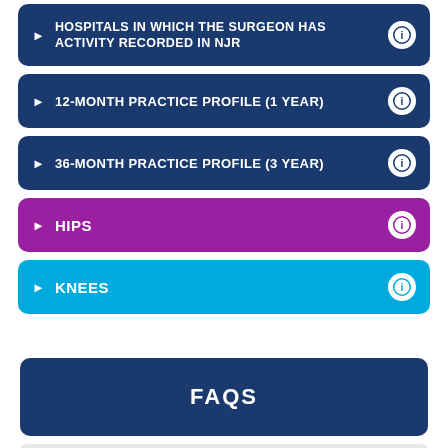HOSPITALS IN WHICH THE SURGEON HAS ACTIVITY RECORDED IN NJR
12-MONTH PRACTICE PROFILE (1 YEAR)
36-MONTH PRACTICE PROFILE (3 YEAR)
HIPS
KNEES
FAQS